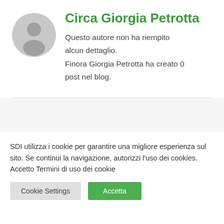[Figure (illustration): Circular grey avatar/profile icon showing a generic person silhouette]
Circa Giorgia Petrotta
Questo autore non ha riempito alcun dettaglio. Finora Giorgia Petrotta ha creato 0 post nel blog.
SDI utilizza i cookie per garantire una migliore esperienza sul sito. Se continui la navigazione, autorizzi l'uso dei cookies. Accetto Termini di uso dei cookie
Cookie Settings
Accetta